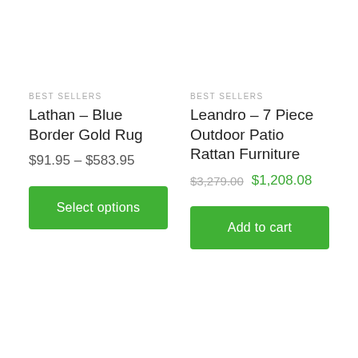BEST SELLERS
Lathan – Blue Border Gold Rug
$91.95 – $583.95
Select options
BEST SELLERS
Leandro – 7 Piece Outdoor Patio Rattan Furniture
$3,279.00  $1,208.08
Add to cart